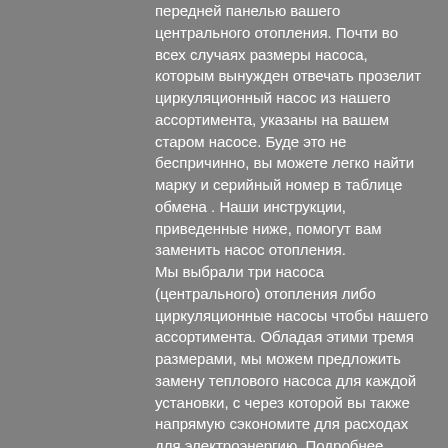передней панелью вашего центрального отопления. Почти во всех случаях размеры насоса, которым вынужден отвечать прозелит циркуляционный насос из нашего ассортимента, указаны на вашем старом насосе. Буде это не беспричинно, вы можете легко найти марку и серийный номер в таблице обмена . Наши инструкции, приведенные ниже, помогут вам заменить насос отопления.
Мы выбрали три насоса (центрального) отопления либо циркуляционные насосы чтобы нашего ассортимента. Обладая этими тремя размерами, мы можем предложить замену теплового насоса для каждой установки, с через которой вы также напрямую сэкономите для расходах для электроэнергию. Подробнее относительный этом ниже! Опричь того, заменить циркуляционный насос, насос отопления или насос теплого пола шабаш